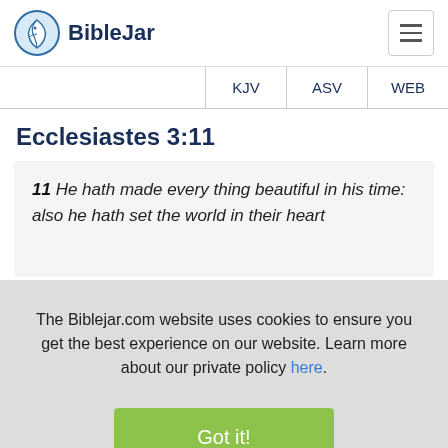BibleJar
KJV  ASV  WEB
Ecclesiastes 3:11
11 He hath made every thing beautiful in his time: also he hath set the world in their heart
The Biblejar.com website uses cookies to ensure you get the best experience on our website. Learn more about our private policy here.
Got it!